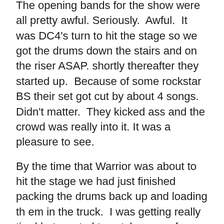The opening bands for the show were all pretty awful. Seriously. Awful. It was DC4's turn to hit the stage so we got the drums down the stairs and on the riser ASAP. shortly thereafter they started up. Because of some rockstar BS their set got cut by about 4 songs. Didn't matter. They kicked ass and the crowd was really into it. It was a pleasure to see.
By the time that Warrior was about to hit the stage we had just finished packing the drums back up and loading th em in the truck. I was getting really tired but wanted to catch some of Warrior's set. Fortunately I got to hear 3 songs, the last being my favorite from their debut, Mind Over Matter. McCarty's voice sound GREAT and Joe Floyd was playing very well. I was fading fast though. It was already 12:30 Cali time, 2:30 my time and I had been running around all day. Shawn's fiance was going to leave so I left